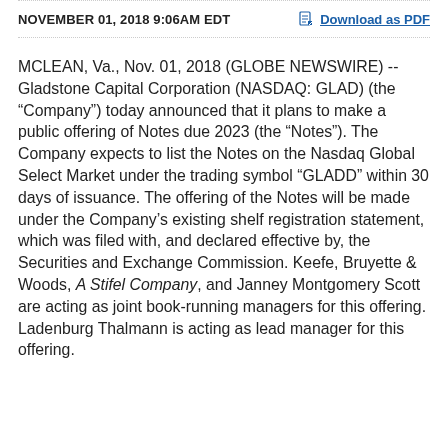NOVEMBER 01, 2018 9:06AM EDT
MCLEAN, Va., Nov. 01, 2018 (GLOBE NEWSWIRE) -- Gladstone Capital Corporation (NASDAQ: GLAD) (the “Company”) today announced that it plans to make a public offering of Notes due 2023 (the “Notes”). The Company expects to list the Notes on the Nasdaq Global Select Market under the trading symbol “GLADD” within 30 days of issuance. The offering of the Notes will be made under the Company’s existing shelf registration statement, which was filed with, and declared effective by, the Securities and Exchange Commission. Keefe, Bruyette & Woods, A Stifel Company, and Janney Montgomery Scott are acting as joint book-running managers for this offering. Ladenburg Thalmann is acting as lead manager for this offering.